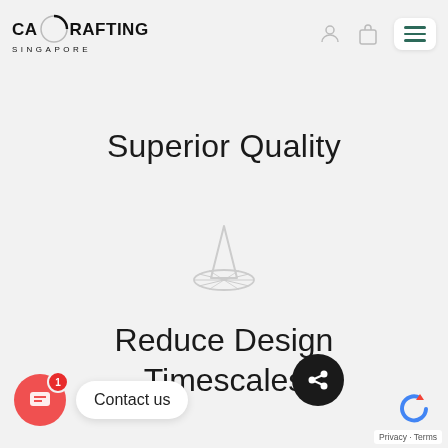[Figure (logo): CA Drafting Singapore logo with circular arc element]
Superior Quality
[Figure (illustration): Sundial icon outline in light gray]
Reduce Design Timescales
Contact us
Privacy · Terms